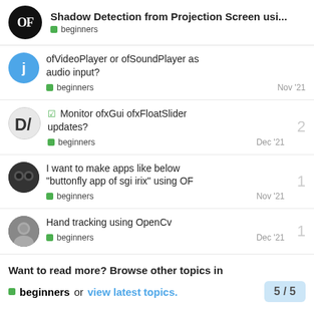Shadow Detection from Projection Screen usi... — beginners
ofVideoPlayer or ofSoundPlayer as audio input? | beginners | Nov '21
✓ Monitor ofxGui ofxFloatSlider updates? | beginners | Dec '21 | replies: 2
I want to make apps like below "buttonfly app of sgi irix" using OF | beginners | Nov '21 | replies: 1
Hand tracking using OpenCv | beginners | Dec '21 | replies: 1
Want to read more? Browse other topics in beginners or view latest topics.
5 / 5